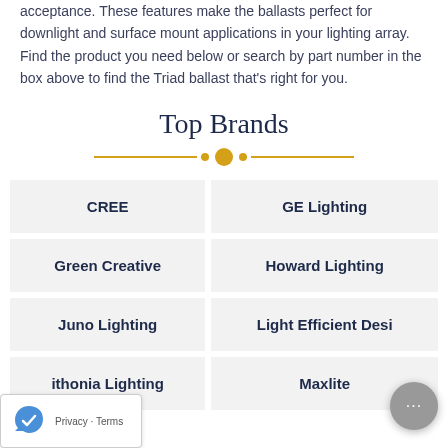acceptance. These features make the ballasts perfect for downlight and surface mount applications in your lighting array. Find the product you need below or search by part number in the box above to find the Triad ballast that's right for you.
Top Brands
| CREE | GE Lighting |
| Green Creative | Howard Lighting |
| Juno Lighting | Light Efficient Desi... |
| ithonia Lighting | Maxlite |